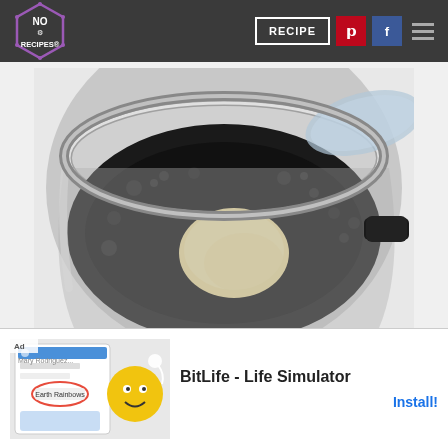No Recipes - RECIPE
[Figure (photo): A pressure cooker pot viewed from above, containing dark black liquid with foam/bubbles around the edges and a round pale/beige dough ball or dumpling floating in the center. The pot is stainless steel with a black handle visible on the right.]
[Figure (screenshot): Advertisement banner for BitLife - Life Simulator app. Shows 'Ad' label, a screenshot of the app with a cartoon character face, and the text 'BitLife - Life Simulator' with an Install button.]